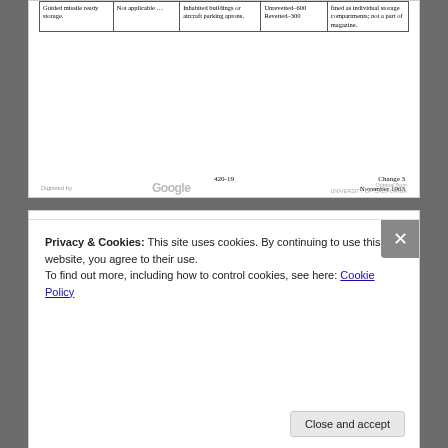| Magazine | Minimum inter-magazine spacing (ft.) | Between magazine and: | Minimum distance (ft.) | Remarks |
| --- | --- | --- | --- | --- |
| Guided missile ready storage. | Not applicable … | Inhabited buildings or aircraft parking aprons. | Unrevetted–600
Revetted–300 | Fined as individual storage compartments; not a part of magazine. |
420-19                                                    Change 3
                                                         November 1963
TABLE 42-9 (Continued)
| Magazine | Minimum inter-magazine spacing (ft.) | Between magazine and: | Minimum distance (ft.) | Remarks |
| --- | --- | --- | --- | --- |
| Inert storehouse. | 106 ft. type—300 .
10 x 200 ft. type—200 | Depot boundary ………
Smokeless powder/
projectile magazine.
High explosives group … | 400
1,200

1,900 |  |
| Smoke class storehouse. | 100 ………… | Other magazine types (except high | 200 |  |